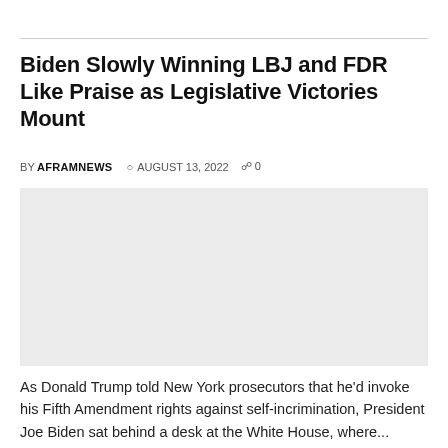Biden Slowly Winning LBJ and FDR Like Praise as Legislative Victories Mount
BY AFRAMNEWS  AUGUST 13, 2022  0
[Figure (photo): Placeholder image area, light gray background, no visible content]
As Donald Trump told New York prosecutors that he'd invoke his Fifth Amendment rights against self-incrimination, President Joe Biden sat behind a desk at the White House, where...